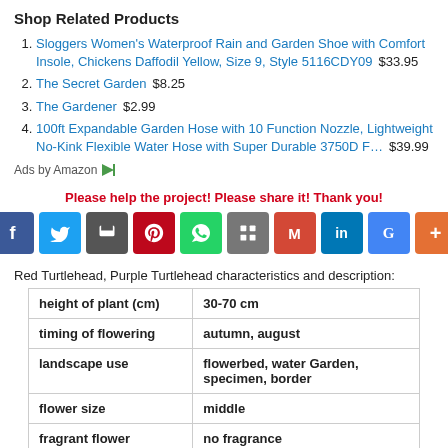Shop Related Products
Sloggers Women's Waterproof Rain and Garden Shoe with Comfort Insole, Chickens Daffodil Yellow, Size 9, Style 5116CDY09   $33.95
The Secret Garden   $8.25
The Gardener   $2.99
100ft Expandable Garden Hose with 10 Function Nozzle, Lightweight No-Kink Flexible Water Hose with Super Durable 3750D F…   $39.99
Ads by Amazon
Please help the project! Please share it! Thank you!
Red Turtlehead, Purple Turtlehead characteristics and description:
|  |  |
| --- | --- |
| height of plant (cm) | 30-70 cm |
| timing of flowering | autumn, august |
| landscape use | flowerbed, water Garden, specimen, border |
| flower size | middle |
| fragrant flower | no fragrance |
| type of stem | erect |